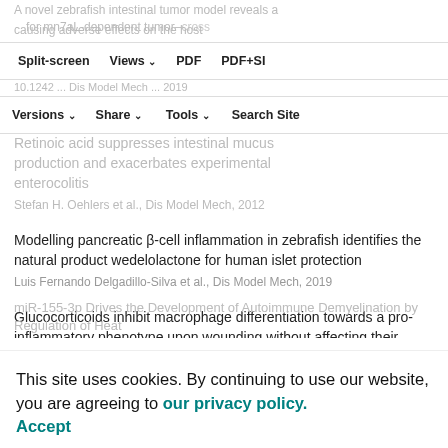A novel zebrafish intestinal tumor model reveals a role for tumor-7aL-dependent tumor-cross causing adverse effects on the host
Split-screen | Views | PDF | PDF+SI | Versions | Share | Tools | Search Site
Retinoic acid suppresses intestinal mucus production and exacerbates experimental enterocolitis Stefan H. Oehlers et al., Dis Model Mech, 2012
Modelling pancreatic β-cell inflammation in zebrafish identifies the natural product wedelolactone for human islet protection Luis Fernando Delgadillo-Silva et al., Dis Model Mech, 2019
Glucocorticoids inhibit macrophage differentiation towards a pro-inflammatory phenotype upon wounding without affecting their migration Yufei Xie et al., Dis Model Mech, 2019
MicroRNA-Cluster Cleavage of HOXB mRNA
This site uses cookies. By continuing to use our website, you are agreeing to our privacy policy. Accept
miR-155-3p Drives the Development of Autoimmune Demyelination by Regulation of Heat